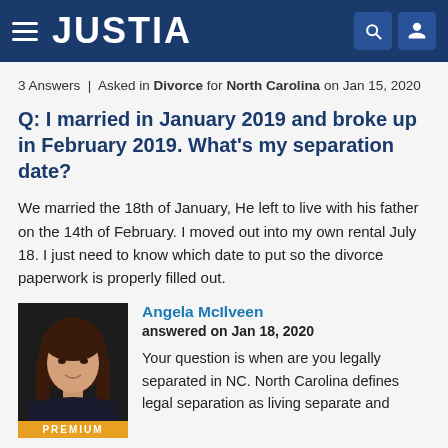JUSTIA
3 Answers | Asked in Divorce for North Carolina on Jan 15, 2020
Q: I married in January 2019 and broke up in February 2019. What's my separation date?
We married the 18th of January, He left to live with his father on the 14th of February. I moved out into my own rental July 18. I just need to know which date to put so the divorce paperwork is properly filled out.
Angela McIlveen
answered on Jan 18, 2020
Your question is when are you legally separated in NC. North Carolina defines legal separation as living separate and